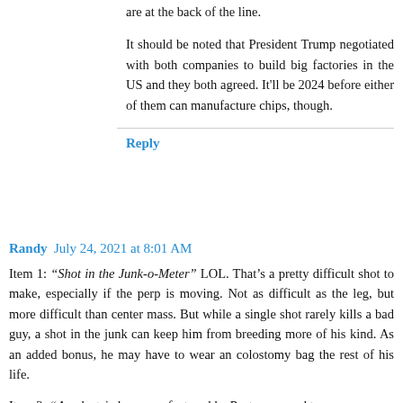are at the back of the line.
It should be noted that President Trump negotiated with both companies to build big factories in the US and they both agreed. It'll be 2024 before either of them can manufacture chips, though.
Reply
Randy July 24, 2021 at 8:01 AM
Item 1: “Shot in the Junk-o-Meter” LOL. That’s a pretty difficult shot to make, especially if the perp is moving. Not as difficult as the leg, but more difficult than center mass. But while a single shot rarely kills a bad guy, a shot in the junk can keep him from breeding more of his kind. As an added bonus, he may have to wear an colostomy bag the rest of his life.
Item 2: “An electric bus manufactured by Proterra caught